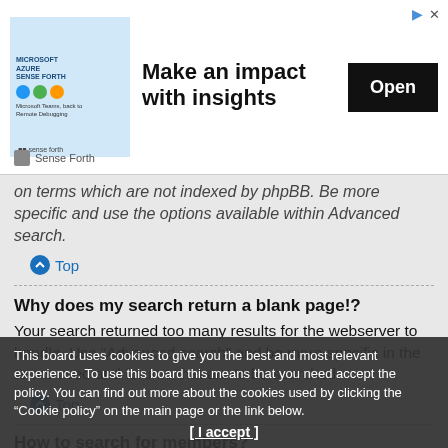[Figure (other): Advertisement banner: 'Make an impact with insights' with an Open button and Sense Forth branding]
on terms which are not indexed by phpBB. Be more specific and use the options available within Advanced search.
Top
Why does my search return a blank page!?
Your search returned too many results for the webserver to handle. Use “Advanced search” and be more specific in the terms used and forums that are to be searched.
Top
How to search for members?
Visit to the "Members" page and click the "Find a member" link.
This board uses cookies to give you the best and most relevant experience. To use this board this means that you need accept the policy. You can find out more about the cookies used by clicking the "Cookie policy" on the main page or the link below. [ I accept ]